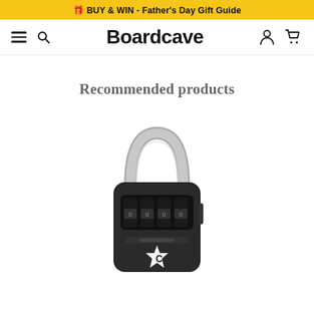🎁 BUY & WIN - Father's Day Gift Guide
[Figure (screenshot): Boardcave website navigation bar with hamburger menu, search icon, Boardcave logo, user icon, and cart icon]
Recommended products
[Figure (photo): Black combination padlock with silver shackle, 4-digit combination dials, and white star-C Creatures logo on the front body]